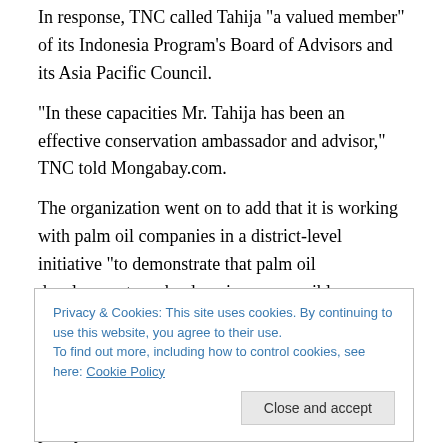In response, TNC called Tahija "a valued member" of its Indonesia Program's Board of Advisors and its Asia Pacific Council.
"In these capacities Mr. Tahija has been an effective conservation ambassador and advisor," TNC told Mongabay.com.
The organization went on to add that it is working with palm oil companies in a district-level initiative "to demonstrate that palm oil development can be done in a responsible manner at scale"
Privacy & Cookies: This site uses cookies. By continuing to use this website, you agree to their use.
To find out more, including how to control cookies, see here: Cookie Policy
Close and accept
to inform sustainable oil palm development, and policy